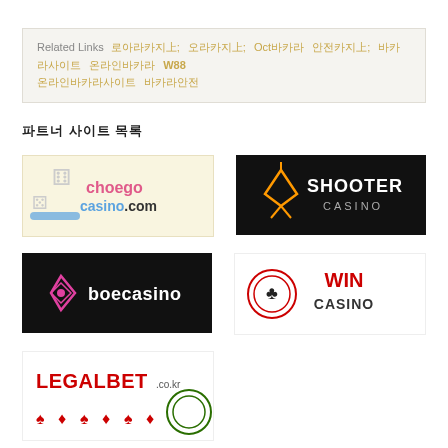Related Links  ○○○○○○  ○○○○○  Oct○○○  ○○○○○  ○○○○○  ○○○○○○  W88  ○○○○○○○○○○○○  ○○○○○○○
○○ ○○ ○○
[Figure (logo): choego casino.com logo - hand holding dice on yellow/cream background]
[Figure (logo): SHOOTER CASINO logo - black background with orange/yellow geometric shooter icon]
[Figure (logo): boecasino logo - black background with pink diamond/rhombus icon]
[Figure (logo): WIN CASINO logo - white background with red/black casino chip icon]
[Figure (logo): LEGALBET.co.kr logo - white background with red text and poker chip/cards]